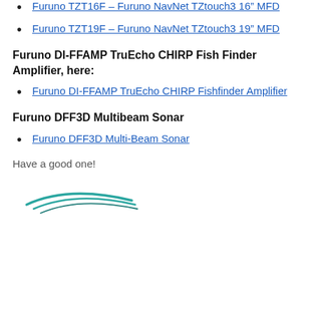Furuno TZT16F – Furuno NavNet TZtouch3 16″ MFD
Furuno TZT19F – Furuno NavNet TZtouch3 19″ MFD
Furuno DI-FFAMP TruEcho CHIRP Fish Finder Amplifier, here:
Furuno DI-FFAMP TruEcho CHIRP Fishfinder Amplifier
Furuno DFF3D Multibeam Sonar
Furuno DFF3D Multi-Beam Sonar
Have a good one!
[Figure (logo): Furuno logo — stylized wave/boat shape in teal with text below (partially visible)]